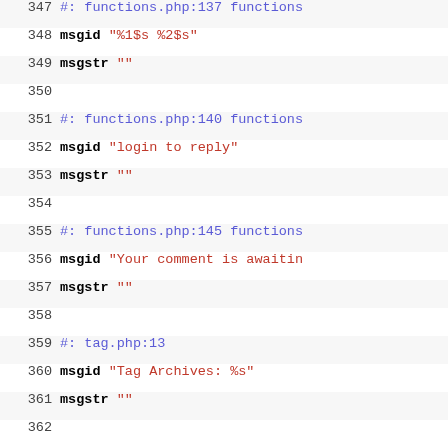347 #: functions.php:137 functions
348 msgid "%1$s %2$s"
349 msgstr ""
350
351 #: functions.php:140 functions
352 msgid "login to reply"
353 msgstr ""
354
355 #: functions.php:145 functions
356 msgid "Your comment is awaitin
357 msgstr ""
358
359 #: tag.php:13
360 msgid "Tag Archives: %s"
361 msgstr ""
362
363 #: content-zenphoto.php:15
364 msgid "Permalink:"
365 msgstr ""